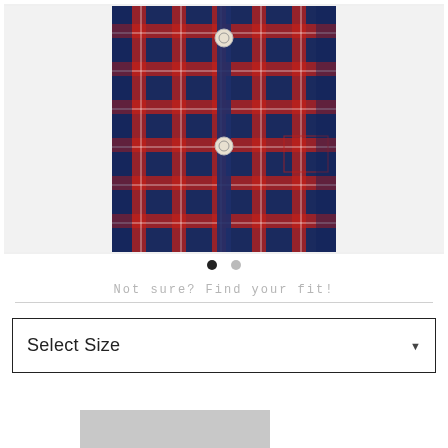[Figure (photo): Product photo of a navy and red plaid/tartan flannel shirt with white buttons, displayed flat against a light grey background. The shirt is button-front with a chest pocket visible.]
Not sure?  Find your fit!
Select Size